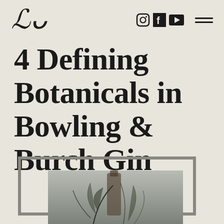LB logo with social media icons (Instagram, Facebook, YouTube) and hamburger menu
4 Defining Botanicals in Bowling & Burch Gin
[Figure (photo): Framed photograph showing a gin bottle with plant/botanical imagery, partially visible at bottom of page]